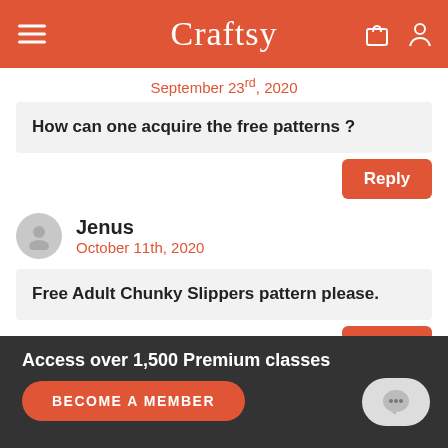Craftsy
September 23rd, 2020
How can one acquire the free patterns ?
Reply
Jenus
October 11th, 2020
Free Adult Chunky Slippers pattern please.
Reply
Access over 1,500 Premium classes
BECOME A MEMBER